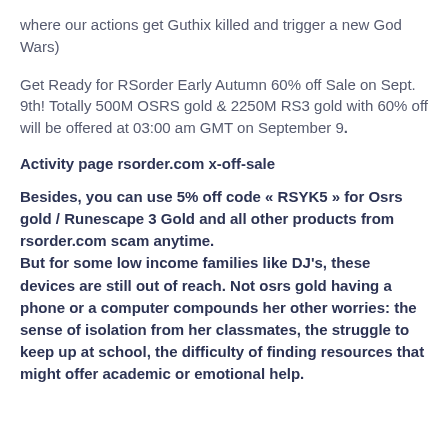where our actions get Guthix killed and trigger a new God Wars)
Get Ready for RSorder Early Autumn 60% off Sale on Sept. 9th! Totally 500M OSRS gold & 2250M RS3 gold with 60% off will be offered at 03:00 am GMT on September 9.
Activity page rsorder.com x-off-sale
Besides, you can use 5% off code « RSYK5 » for Osrs gold / Runescape 3 Gold and all other products from rsorder.com scam anytime. But for some low income families like DJ's, these devices are still out of reach. Not osrs gold having a phone or a computer compounds her other worries: the sense of isolation from her classmates, the struggle to keep up at school, the difficulty of finding resources that might offer academic or emotional help.